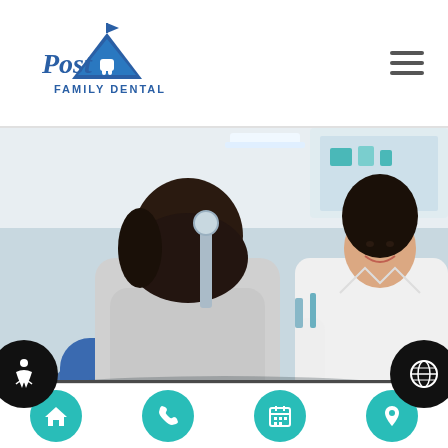Post Family Dental
[Figure (photo): A female patient sitting in a dental chair facing a smiling female dentist in a white coat, in a dental office setting.]
How Visiting A Family Dentist Can Help Prevent Oral Infections
Wondering whether you should choose a family...
[Figure (infographic): Bottom navigation bar with four teal circular icon buttons: home, phone, calendar, and location pin. Side buttons for accessibility and globe/language.]